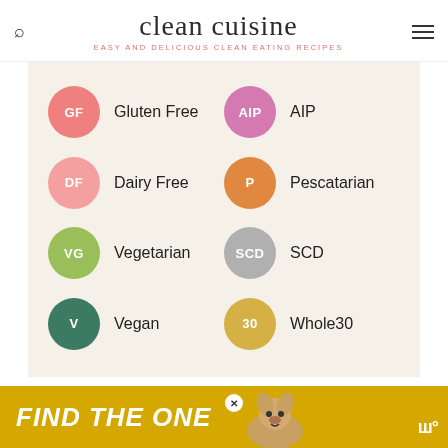clean cuisine — EASY AND DELICIOUS CLEAN EATING RECIPES
[Figure (infographic): Diet/recipe category badge legend showing 8 colored circular badges with abbreviations and labels: GF=Gluten Free, AIP=AIP, DF=Dairy Free, P=Pescatarian, VG=Vegetarian, SCD=SCD, V=Vegan, 30=Whole30]
Search
[Figure (infographic): Advertisement banner: FIND THE ONE — yellow bar with dog photo and close button]